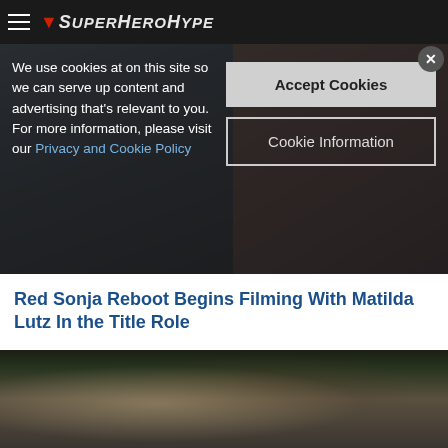SuperHeroHype
[Figure (screenshot): SuperHeroHype website screenshot showing cookie consent overlay with two character images in the background strip, and a Harley Quinn-style character image below the article headline.]
We use cookies at on this site so we can serve up content and advertising that's relevant to you. For more information, please visit our Privacy and Cookie Policy
Red Sonja Reboot Begins Filming With Matilda Lutz In the Title Role